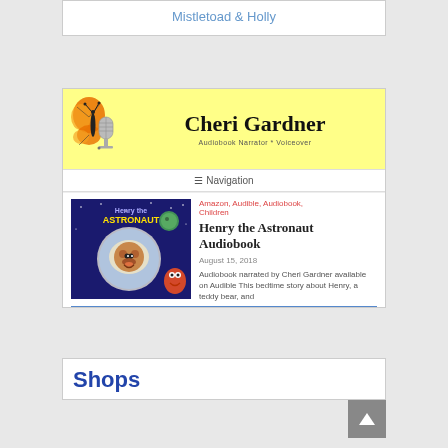Mistletoad & Holly
[Figure (illustration): Cheri Gardner website banner with yellow background, monarch butterfly, microphone, bold serif title 'Cheri Gardner', subtitle 'Audiobook Narrator * Voiceover']
Navigation
Amazon, Audible, Audiobook, Children
[Figure (illustration): Cover of 'Henry the Astronaut' children's audiobook showing a teddy bear in a space helmet surrounded by cartoon space characters on a dark space background]
Henry the Astronaut Audiobook
August 15, 2018
Audiobook narrated by Cheri Gardner available on Audible This bedtime story about Henry, a teddy bear, and
Shops